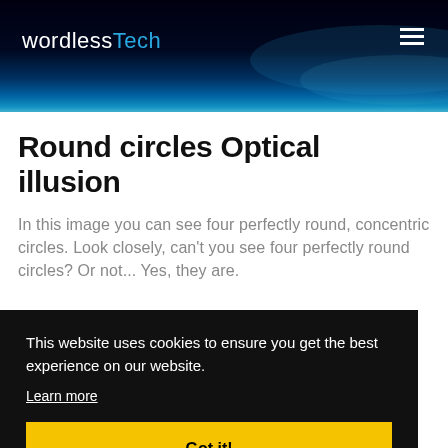wordlessTech
Round circles Optical illusion
In this image you can see four perfectly round, concentric circles. Look closely, can't you see four perfectly round circles? Or not... Yes, they are.
This website uses cookies to ensure you get the best experience on our website.
Learn more
Got it!